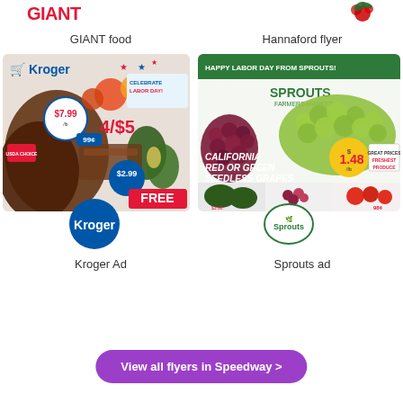[Figure (logo): GIANT food logo in red bold text]
[Figure (logo): Hannaford flyer logo with holly decoration]
GIANT food
Hannaford flyer
[Figure (photo): Kroger weekly ad flyer thumbnail showing Labor Day sale with meats, fruits, avocados, and Pepsi deals]
[Figure (photo): Sprouts Farmers Market Labor Day ad showing California red or green seedless grapes at $1.48/lb, avocados, blueberries, tomatoes]
[Figure (logo): Kroger circular blue logo]
[Figure (logo): Sprouts oval logo]
Kroger Ad
Sprouts ad
View all flyers in Speedway >